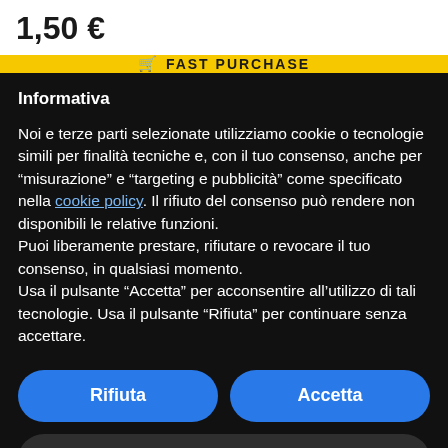1,50 €
FAST PURCHASE
Informativa
Noi e terze parti selezionate utilizziamo cookie o tecnologie simili per finalità tecniche e, con il tuo consenso, anche per "misurazione" e "targeting e pubblicità" come specificato nella cookie policy. Il rifiuto del consenso può rendere non disponibili le relative funzioni.
Puoi liberamente prestare, rifiutare o revocare il tuo consenso, in qualsiasi momento.
Usa il pulsante "Accetta" per acconsentire all'utilizzo di tali tecnologie. Usa il pulsante "Rifiuta" per continuare senza accettare.
Rifiuta
Accetta
Scopri di più e personalizza